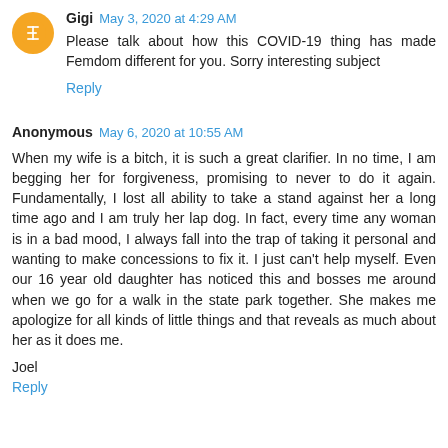Gigi  May 3, 2020 at 4:29 AM
Please talk about how this COVID-19 thing has made Femdom different for you. Sorry interesting subject
Reply
Anonymous  May 6, 2020 at 10:55 AM
When my wife is a bitch, it is such a great clarifier. In no time, I am begging her for forgiveness, promising to never to do it again. Fundamentally, I lost all ability to take a stand against her a long time ago and I am truly her lap dog. In fact, every time any woman is in a bad mood, I always fall into the trap of taking it personal and wanting to make concessions to fix it. I just can't help myself. Even our 16 year old daughter has noticed this and bosses me around when we go for a walk in the state park together. She makes me apologize for all kinds of little things and that reveals as much about her as it does me.
Joel
Reply